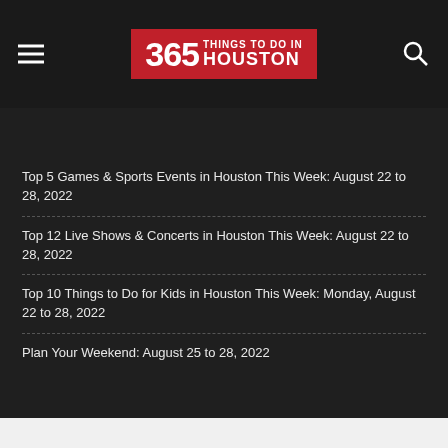365 Things To Do In Houston
Top 5 Games & Sports Events in Houston This Week: August 22 to 28, 2022
Top 12 Live Shows & Concerts in Houston This Week: August 22 to 28, 2022
Top 10 Things to Do for Kids in Houston This Week: Monday, August 22 to 28, 2022
Plan Your Weekend: August 25 to 28, 2022